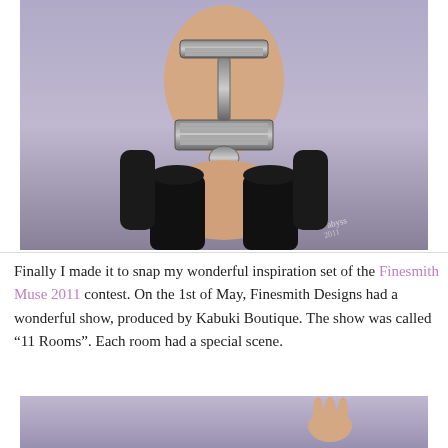[Figure (illustration): Digital illustration of a figure wearing a metallic corset/harness with black boots/gloves against a lavender-grey background. Watermark/signature visible in lower right corner.]
Finally I made it to snap my wonderful inspiration set of the Finesmith Muse 2011 contest. On the 1st of May, Finesmith Designs had a wonderful show, produced by Kabuki Boutique. The show was called “11 Rooms”. Each room had a special scene.
[Figure (illustration): Partial second digital illustration, showing the beginning of another scene with a lavender background and a hand visible.]